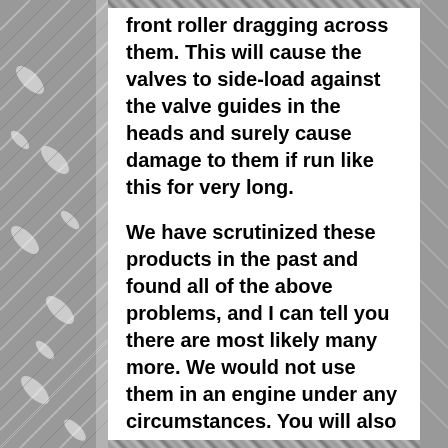front roller dragging across them. This will cause the valves to side-load against the valve guides in the heads and surely cause damage to them if run like this for very long.
We have scrutinized these products in the past and found all of the above problems, and I can tell you there are most likely many more. We would not use them in an engine under any circumstances. You will also see many of these rockers made from stainless on the market. They use a low grade stainless that actually has a near non-existent amount of